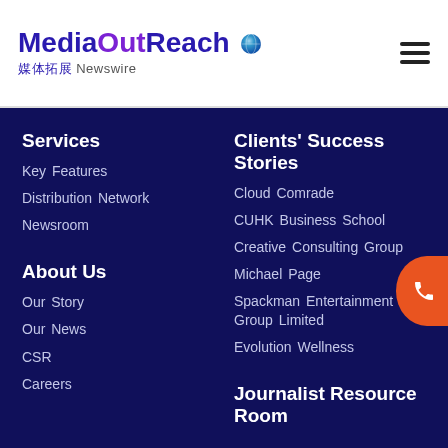[Figure (logo): MediaOutReach Newswire logo with globe icon and Chinese characters 媒体拓展]
Services
Key Features
Distribution Network
Newsroom
About Us
Our Story
Our News
CSR
Careers
Clients' Success Stories
Cloud Comrade
CUHK Business School
Creative Consulting Group
Michael Page
Spackman Entertainment Group Limited
Evolution Wellness
Journalist Resource Room